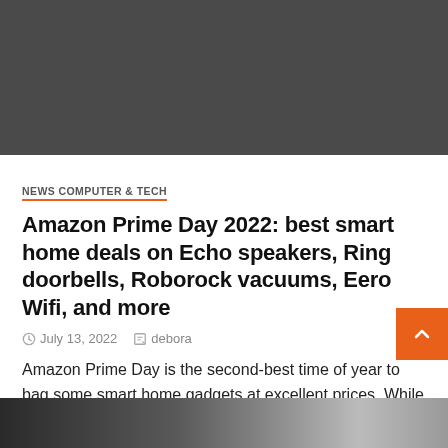[Figure (photo): Dark gray/charcoal banner image at top of article page]
NEWS COMPUTER & TECH
Amazon Prime Day 2022: best smart home deals on Echo speakers, Ring doorbells, Roborock vacuums, Eero Wifi, and more
July 13, 2022   debora
Amazon Prime Day is the second-best time of year to bag some smart home gadgets at excellent prices. While Black...
[Figure (photo): Partial dark image visible at bottom of page]